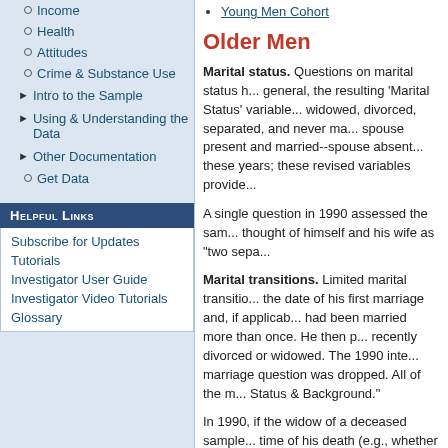Income
Health
Attitudes
Crime & Substance Use
Intro to the Sample
Using & Understanding the Data
Other Documentation
Get Data
Helpful Links
Subscribe for Updates
Tutorials
Investigator User Guide
Investigator Video Tutorials
Glossary
Young Men Cohort
Older Men
Marital status. Questions on marital status h... general, the resulting 'Marital Status' variable... widowed, divorced, separated, and never ma... spouse present and married--spouse absent... these years; these revised variables provide...
A single question in 1990 assessed the sam... thought of himself and his wife as "two sepa...
Marital transitions. Limited marital transitio... the date of his first marriage and, if applicabl... had been married more than once. He then p... recently divorced or widowed. The 1990 inte... marriage question was dropped. All of the m... Status & Background."
In 1990, if the widow of a deceased sample... time of his death (e.g., whether she and the... sample person were first married.
Characteristics of the respondent's spou... interviews except the 1968 mail survey; thes... surveys, created variables are available that... researchers do not need to sort through the...